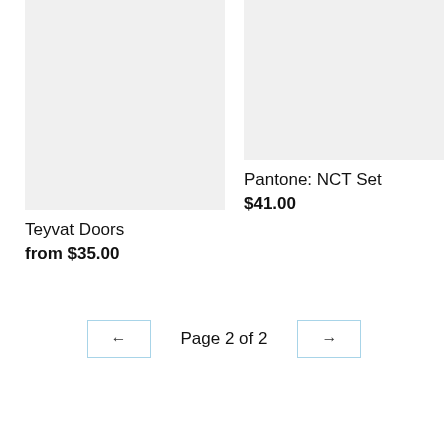[Figure (photo): Product image placeholder — light gray rectangle for Teyvat Doors]
Teyvat Doors
from $35.00
[Figure (photo): Product image placeholder — light gray rectangle for Pantone: NCT Set]
Pantone: NCT Set
$41.00
Page 2 of 2